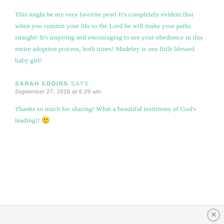This might be my very favorite post! It's completely evident that when you commit your life to the Lord he will make your paths straight! It's inspiring and encouraging to see your obedience in this entire adoption process, both times! Madeley is one little blessed baby girl!
SARAH EDDINS SAYS
September 27, 2016 at 6:29 am
Thanks so much for sharing! What a beautiful testimony of God's leading!! 🙂